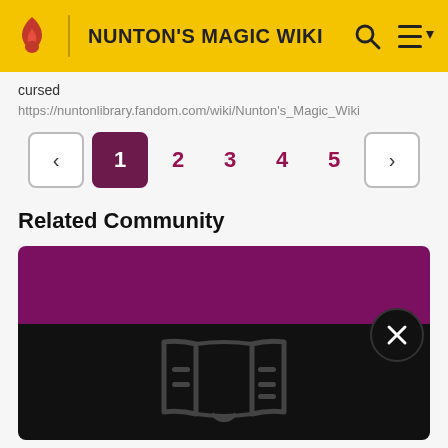NUNTON'S MAGIC WIKI
cursed
https://nuntonlibrary.fandom.com/wiki/Nunton's_Magic_Wiki
< 1 2 3 4 5 >
Related Community
[Figure (other): Community card with dark purple top band and dark background showing a book/library icon in dark gray outline style]